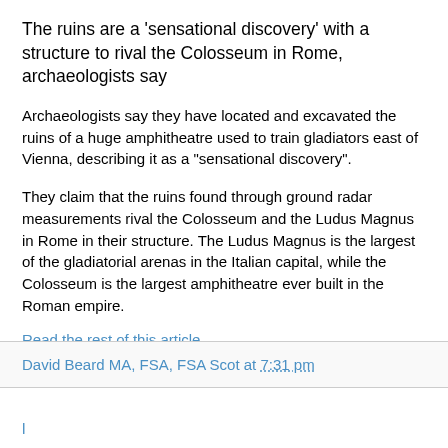The ruins are a 'sensational discovery' with a structure to rival the Colosseum in Rome, archaeologists say
Archaeologists say they have located and excavated the ruins of a huge amphitheatre used to train gladiators east of Vienna, describing it as a "sensational discovery".
They claim that the ruins found through ground radar measurements rival the Colosseum and the Ludus Magnus in Rome in their structure. The Ludus Magnus is the largest of the gladiatorial arenas in the Italian capital, while the Colosseum is the largest amphitheatre ever built in the Roman empire.
Read the rest of this article...
David Beard MA, FSA, FSA Scot at 7:31 pm